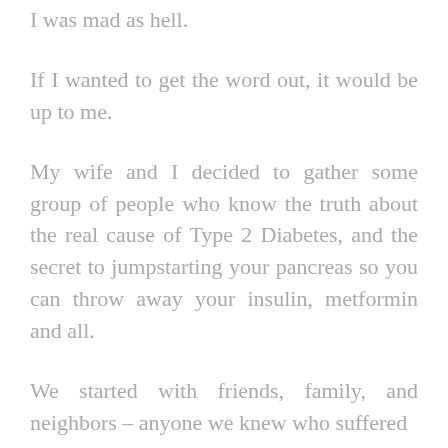I was mad as hell.
If I wanted to get the word out, it would be up to me.
My wife and I decided to gather some group of people who know the truth about the real cause of Type 2 Diabetes, and the secret to jumpstarting your pancreas so you can throw away your insulin, metformin and all.
We started with friends, family, and neighbors – anyone we knew who suffered